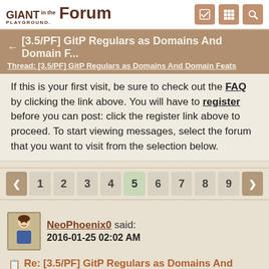Giant in the Playground Forum
← [3.5/PF] GitP Regulars as Domains And Domain F...
Thread: [3.5/PF] GitP Regulars as Domains And Domain Feats
If this is your first visit, be sure to check out the FAQ by clicking the link above. You will have to register before you can post: click the register link above to proceed. To start viewing messages, select the forum that you want to visit from the selection below.
Pagination: 1 2 3 4 5 6 7 8 9
NeoPhoenix0 said:
2016-01-25 02:02 AM
Re: [3.5/PF] GitP Regulars as Domains And Domain Feats
I don't have physical credentials, i just said that so people might not think i was making it all up.